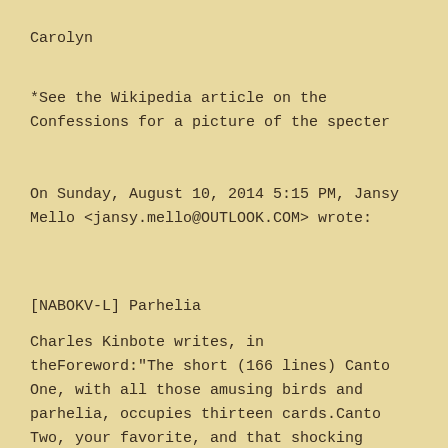Carolyn
*See the Wikipedia article on the Confessions for a picture of the specter
On Sunday, August 10, 2014 5:15 PM, Jansy Mello <jansy.mello@OUTLOOK.COM> wrote:
[NABOKV-L] Parhelia
Charles Kinbote writes, in theForeword:"The short (166 lines) Canto One, with all those amusing birds and parhelia, occupies thirteen cards.Canto Two, your favorite, and that shocking